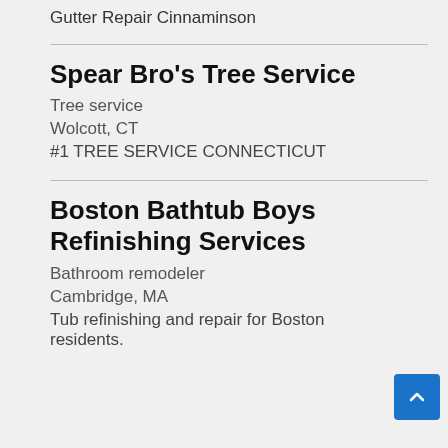Gutter Repair Cinnaminson
Spear Bro's Tree Service
Tree service
Wolcott, CT
#1 TREE SERVICE CONNECTICUT
Boston Bathtub Boys Refinishing Services
Bathroom remodeler
Cambridge, MA
Tub refinishing and repair for Boston residents.